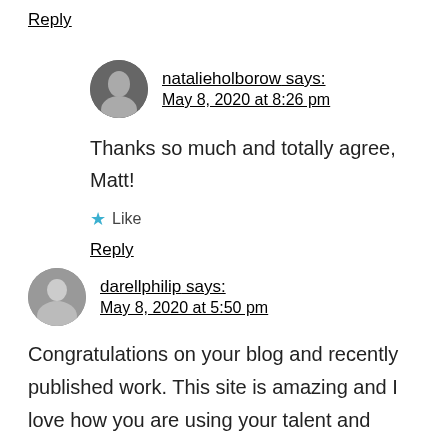Reply
natalieholborow says:
May 8, 2020 at 8:26 pm
Thanks so much and totally agree, Matt!
Like
Reply
darellphilip says:
May 8, 2020 at 5:50 pm
Congratulations on your blog and recently published work. This site is amazing and I love how you are using your talent and